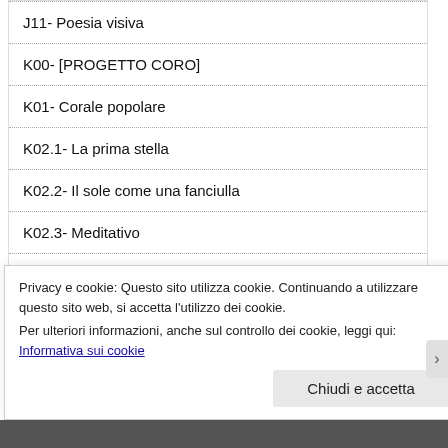J11- Poesia visiva
K00- [PROGETTO CORO]
K01- Corale popolare
K02.1- La prima stella
K02.2- Il sole come una fanciulla
K02.3- Meditativo
L00- [ANALISI MUSICALE DEL RINASCIMENTO E BAROCCO]
M00- [ANALISI: CLASSICISMO MUSICALE]
Privacy e cookie: Questo sito utilizza cookie. Continuando a utilizzare questo sito web, si accetta l'utilizzo dei cookie.
Per ulteriori informazioni, anche sul controllo dei cookie, leggi qui:
Informativa sui cookie
Chiudi e accetta